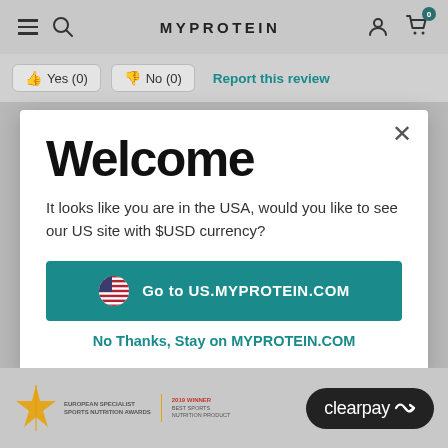[Figure (screenshot): MyProtein website header navigation bar with hamburger menu, search icon, MYPROTEIN logo, user account icon, and shopping cart icon with badge showing 0]
👍 Yes (0)   👎 No (0)   Report this review
Welcome
It looks like you are in the USA, would you like to see our US site with $USD currency?
Go to US.MYPROTEIN.COM
No Thanks, Stay on MYPROTEIN.COM
[Figure (logo): European Specialist Sports Nutrition Awards logo with star figure and text, plus 2019 Winner Best Sports Nutrition Product divider]
[Figure (logo): Clearpay logo on black rounded rectangle button]